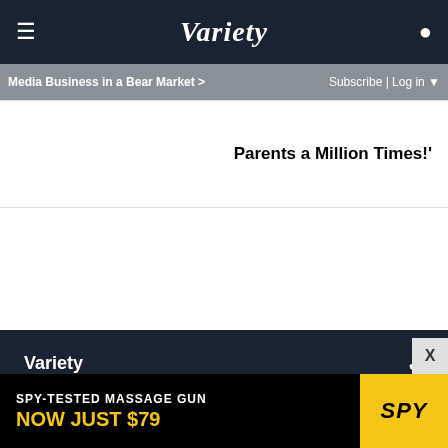Variety
Media Business in a Bear Market > | Subscribe | Log in
Parents a Million Times!'
Variety
Legal
Variety Magazine
VIP+ Account
[Figure (screenshot): Advertisement banner: SPY-TESTED MASSAGE GUN NOW JUST $79 with SPY logo on yellow background]